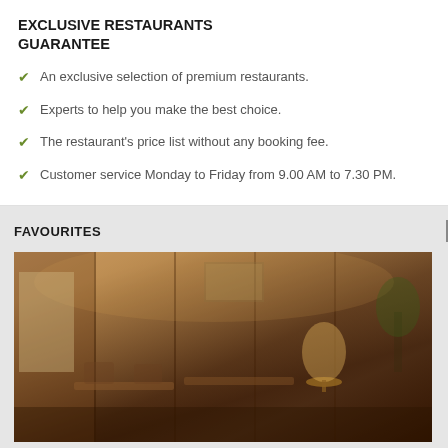EXCLUSIVE RESTAURANTS GUARANTEE
An exclusive selection of premium restaurants.
Experts to help you make the best choice.
The restaurant's price list without any booking fee.
Customer service Monday to Friday from 9.00 AM to 7.30 PM.
also featured on the menu.
Tw
YOU WILL ALSO LIKE
FAVOURITES
[Figure (photo): Interior of Bivouac Café restaurant showing dining area with warm lighting, wood paneling, and elegant seating]
Bivouac Café
75008 Paris
Restaurant French cuisine
→ BOOK
Le Zeyer
75014 Paris
→ BOOK
Les
75014
→ B